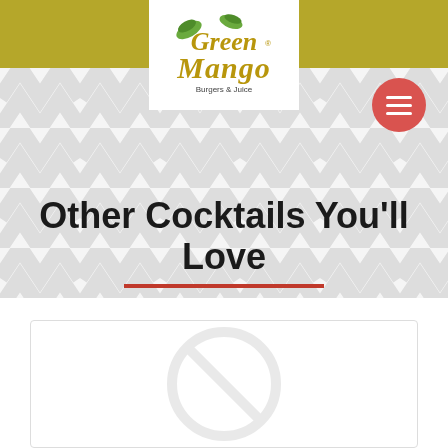[Figure (logo): Green Mango Burgers & Juice logo — stylized text with leaf motif]
Other Cocktails You'll Love
[Figure (photo): Placeholder image card with no-image icon (circle with diagonal line)]